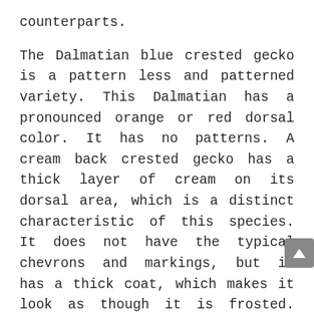counterparts.
The Dalmatian blue crested gecko is a pattern less and patterned variety. This Dalmatian has a pronounced orange or red dorsal color. It has no patterns. A cream back crested gecko has a thick layer of cream on its dorsal area, which is a distinct characteristic of this species. It does not have the typical chevrons and markings, but it has a thick coat, which makes it look as though it is frosted. Besides the cream back Dalmatian, the cream back is a great choice for beginners to keep because it is easy to clean and